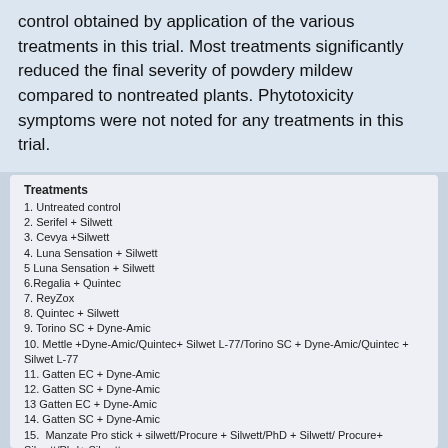control obtained by application of the various treatments in this trial. Most treatments significantly reduced the final severity of powdery mildew compared to nontreated plants. Phytotoxicity symptoms were not noted for any treatments in this trial.
Treatments
1. Untreated control
2. Serifel + Silwett
3. Cevya +Silwett
4. Luna Sensation + Silwett
5 Luna Sensation + Silwett
6.Regalia + Quintec
7. ReyZox
8. Quintec + Silwett
9. Torino SC + Dyne-Amic
10. Mettle +Dyne-Amic/Quintec+ Silwet L-77/Torino SC + Dyne-Amic/Quintec + Silwet L-77
11. Gatten EC + Dyne-Amic
12. Gatten SC + Dyne-Amic
13 Gatten EC + Dyne-Amic
14. Gatten SC + Dyne-Amic
15.  Manzate Pro stick + silwett/Procure + Silwett/PhD + Silwett/ Procure+ Silwett/Phd+ Silwett
16. Manzate Pro stick + vacciplant +silwett/Procure +vacciplant+ Silwett/PhD + vacciplant+Silwett/Procure+vacciplant+ Silwett/Phd+vacciplant+ Silwett
17. Serenade optimum
18.  CINNACTION + OROBOOST
19. CINNACTION 50 + ATTITUDE
20. PREV-AM
21. PREV-AM